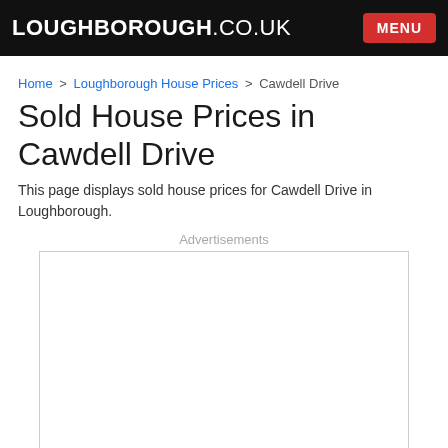LOUGHBOROUGH.CO.UK  MENU
Home > Loughborough House Prices > Cawdell Drive
Sold House Prices in Cawdell Drive
This page displays sold house prices for Cawdell Drive in Loughborough.
Advertisements
[Figure (other): Empty advertisement placeholder box with border]